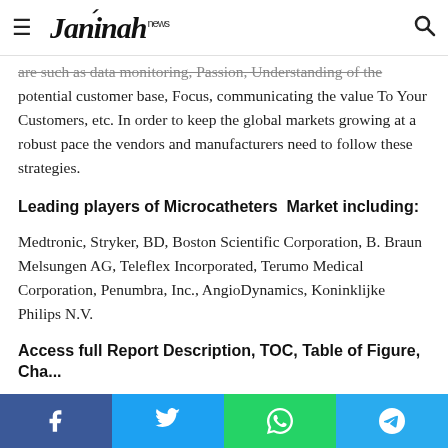Jannah news
are such as data monitoring, Passion, Understanding of the potential customer base, Focus, communicating the value To Your Customers, etc. In order to keep the global markets growing at a robust pace the vendors and manufacturers need to follow these strategies.
Leading players of Microcatheters  Market including:
Medtronic, Stryker, BD, Boston Scientific Corporation, B. Braun Melsungen AG, Teleflex Incorporated, Terumo Medical Corporation, Penumbra, Inc., AngioDynamics, Koninklijke Philips N.V.
Access full Report Description, TOC, Table of Figure, Chart, o...
Facebook Twitter WhatsApp Telegram